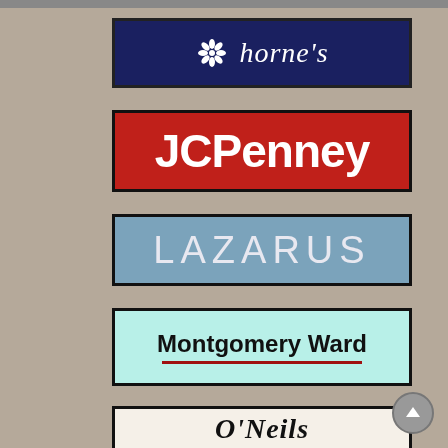[Figure (logo): Horne's department store logo — white snowflake/pinwheel icon and italic text 'horne's' on dark navy blue background]
[Figure (logo): JCPenney logo — bold white text 'JCPenney' on red background with black border]
[Figure (logo): Lazarus department store logo — light white spaced capital text 'LAZARUS' on steel blue background with black border]
[Figure (logo): Montgomery Ward logo — bold black text 'Montgomery Ward' on mint/turquoise background with dark red underline and black border]
[Figure (logo): O'Neils department store logo — cursive italic signature-style text on cream/off-white background with black border, partially visible]